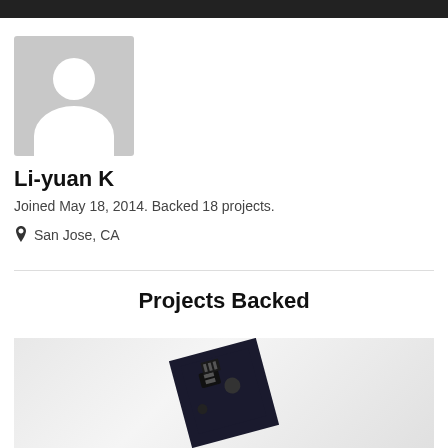[Figure (photo): Default avatar placeholder: gray square with white silhouette of a person (circle head, rounded body)]
Li-yuan K
Joined May 18, 2014. Backed 18 projects.
San Jose, CA
Projects Backed
[Figure (photo): Photo of an electronic circuit board/module, dark colored PCB with components visible, shown from above at slight angle]